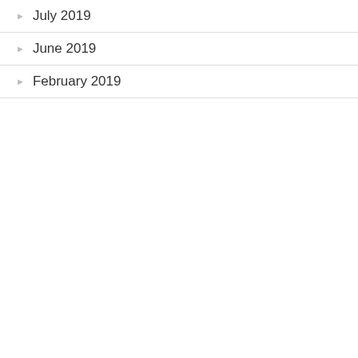July 2019
June 2019
February 2019